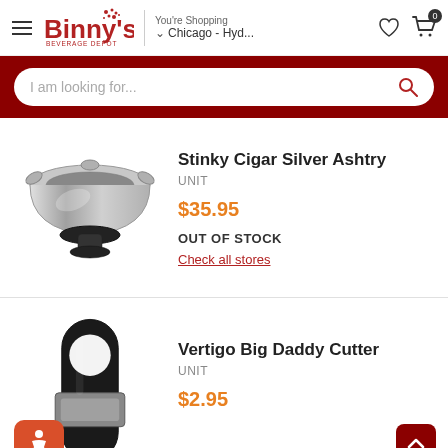Binny's Beverage Depot — You're Shopping Chicago - Hyd...
I am looking for...
[Figure (photo): Stainless steel cigar ashtray with multiple cigar rests]
Stinky Cigar Silver Ashtry
UNIT
$35.95
OUT OF STOCK
Check all stores
[Figure (photo): Black cigar cutter (Vertigo Big Daddy Cutter)]
Vertigo Big Daddy Cutter
UNIT
$2.95